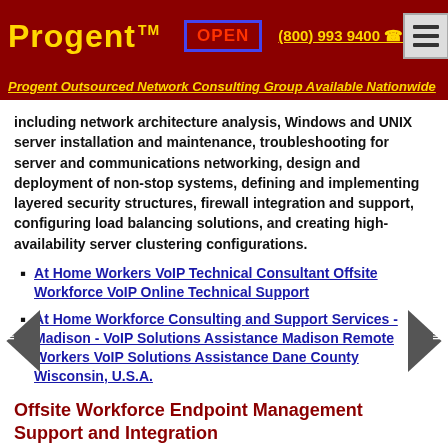Progent™  OPEN  (800) 993 9400  [menu]
Progent Outsourced Network Consulting Group Available Nationwide
including network architecture analysis, Windows and UNIX server installation and maintenance, troubleshooting for server and communications networking, design and deployment of non-stop systems, defining and implementing layered security structures, firewall integration and support, configuring load balancing solutions, and creating high-availability server clustering configurations.
At Home Workers VoIP Technical Consultant Offsite Workforce VoIP Online Technical Support
At Home Workforce Consulting and Support Services - Madison - VoIP Solutions Assistance Madison Remote Workers VoIP Solutions Assistance Dane County Wisconsin, U.S.A.
Offsite Workforce Endpoint Management Support and Integration
Network Engineer Offsite Workforce Endpoint Management